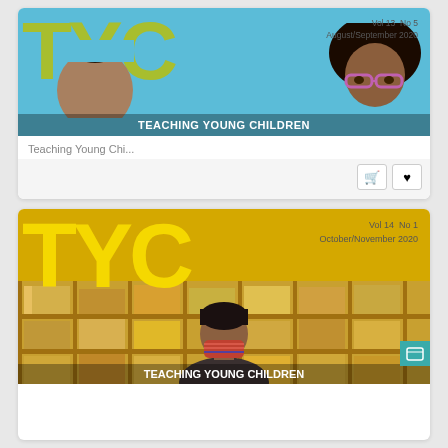[Figure (screenshot): Magazine cover card for Teaching Young Children Vol 13 No 5, August/September 2020. Features large olive-green TYC letters, two people photographed from above, and a white TEACHING YOUNG CHILDREN banner.]
Teaching Young Chi...
[Figure (screenshot): Magazine cover card for Teaching Young Children Vol 14 No 1, October/November 2020. Features large yellow TYC letters, a bookshelf background, a teacher wearing a mask, and a white TEACHING YOUNG CHILDREN banner.]